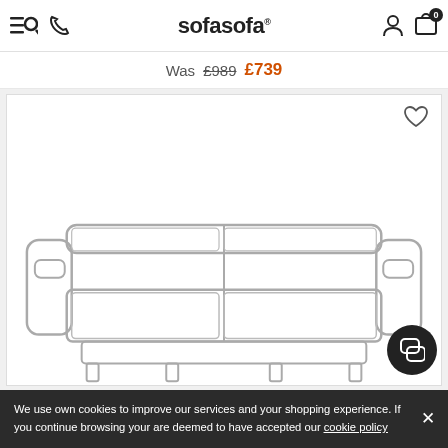sofasofa
Was £989  £739
[Figure (illustration): A line-drawing illustration of a two-seater sofa shown from a slight front angle, with armrests on each side and a center seam dividing two cushions.]
We use own cookies to improve our services and your shopping experience. If you continue browsing your are deemed to have accepted our cookie policy